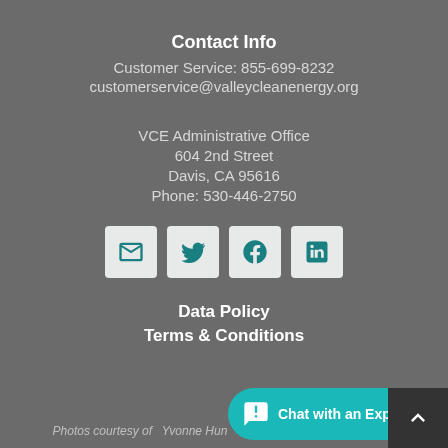Contact Info
Customer Service: 855-699-8232
customerservice@valleycleanenergy.org
VCE Administrative Office
604 2nd Street
Davis, CA 95616
Phone: 530-446-2750
[Figure (infographic): Four social media icon buttons: email (envelope), Twitter (bird), Facebook (f), LinkedIn (in)]
Data Policy
Terms & Conditions
Photos courtesy of  Yvonne Hun...
[Figure (other): Chat with an Expert widget button with teal background and up-arrow dark box]